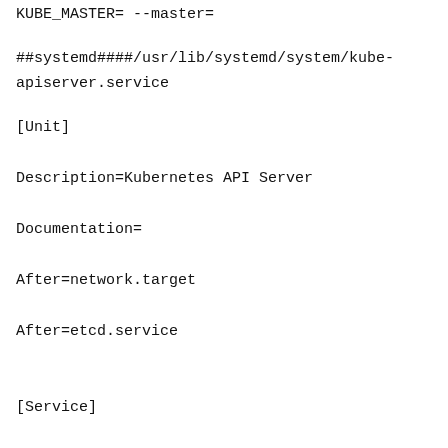KUBE_MASTER= --master=
##systemd####/usr/lib/systemd/system/kube-apiserver.service
[Unit]
Description=Kubernetes API Server
Documentation=
After=network.target
After=etcd.service

[Service]
EnvironmentFile=-/etc/kubernetes/config
EnvironmentFile=-/etc/kubernetes/apiserver
ExecStart=/usr/local/bin/kube-apiserver \